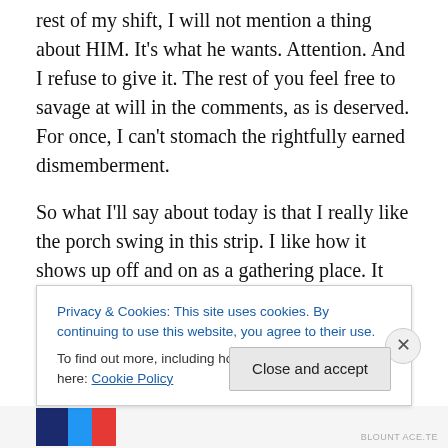rest of my shift, I will not mention a thing about HIM. It's what he wants. Attention. And I refuse to give it. The rest of you feel free to savage at will in the comments, as is deserved. For once, I can't stomach the rightfully earned dismemberment.
So what I'll say about today is that I really like the porch swing in this strip. I like how it shows up off and on as a gathering place. It gives the strip visual continuity that rewards long time readers, but as far as I remember it doesn't have the same verbal attention drawn to it by the characters as other locations like Montoni's. It's 100%
Privacy & Cookies: This site uses cookies. By continuing to use this website, you agree to their use.
To find out more, including how to control cookies, see here: Cookie Policy